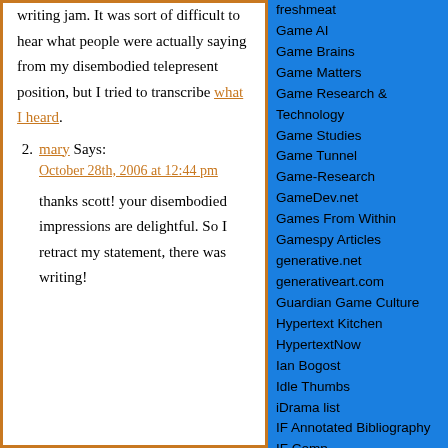writing jam. It was sort of difficult to hear what people were actually saying from my disembodied telepresent position, but I tried to transcribe what I heard.
2. mary Says:
October 28th, 2006 at 12:44 pm
thanks scott! your disembodied impressions are delightful. So I retract my statement, there was writing!
freshmeat
Game AI
Game Brains
Game Matters
Game Research & Technology
Game Studies
Game Tunnel
Game-Research
GameDev.net
Games From Within
Gamespy Articles
generative.net
generativeart.com
Guardian Game Culture
Hypertext Kitchen
HypertextNow
Ian Bogost
Idle Thumbs
iDrama list
IF Annotated Bibliography
IF Comp
IF Theory (forthcoming)
IGDA Indie Sig
IJ Intelligent Games & Simulation
Indygamer
Inform (IF)
Information Arts links
Int'l Game Developers Association
InteractiveStory.net links
Iowa Review Web
Ivory Tower
Jay Is Games
Journal of Computer Game Design
Journal of Digital Information
Journal of Game Development
Journal of Virtual Reality
KurzweilAI.net newsfeed